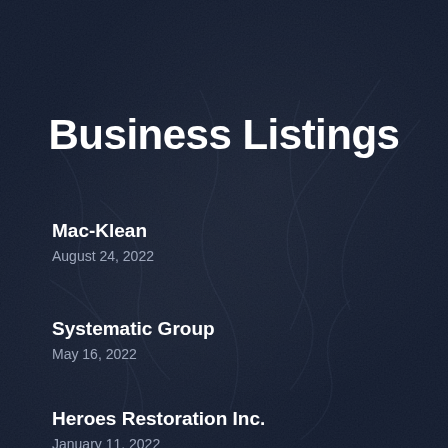Business Listings
Mac-Klean
August 24, 2022
Systematic Group
May 16, 2022
Heroes Restoration Inc.
January 11, 2022